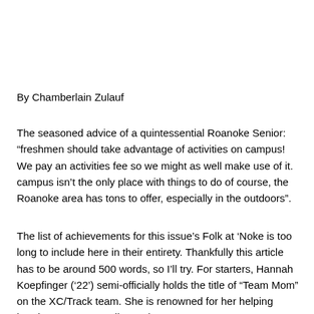By Chamberlain Zulauf
The seasoned advice of a quintessential Roanoke Senior: “freshmen should take advantage of activities on campus! We pay an activities fee so we might as well make use of it. campus isn’t the only place with things to do of course, the Roanoke area has tons to offer, especially in the outdoors”.
The list of achievements for this issue’s Folk at ‘Noke is too long to include here in their entirety. Thankfully this article has to be around 500 words, so I’ll try. For starters, Hannah Koepfinger (’22’) semi-officially holds the title of “Team Mom” on the XC/Track team. She is renowned for her helping hand, sunny personality, and